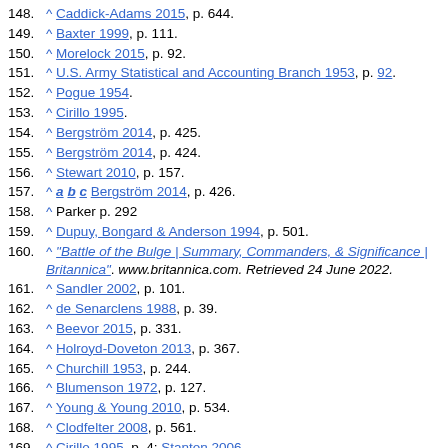148. ^ Caddick-Adams 2015, p. 644.
149. ^ Baxter 1999, p. 111.
150. ^ Morelock 2015, p. 92.
151. ^ U.S. Army Statistical and Accounting Branch 1953, p. 92.
152. ^ Pogue 1954.
153. ^ Cirillo 1995.
154. ^ Bergström 2014, p. 425.
155. ^ Bergström 2014, p. 424.
156. ^ Stewart 2010, p. 157.
157. ^ a b c Bergström 2014, p. 426.
158. ^ Parker p. 292
159. ^ Dupuy, Bongard & Anderson 1994, p. 501.
160. ^ "Battle of the Bulge | Summary, Commanders, & Significance | Britannica". www.britannica.com. Retrieved 24 June 2022.
161. ^ Sandler 2002, p. 101.
162. ^ de Senarclens 1988, p. 39.
163. ^ Beevor 2015, p. 331.
164. ^ Holroyd-Doveton 2013, p. 367.
165. ^ Churchill 1953, p. 244.
166. ^ Blumenson 1972, p. 127.
167. ^ Young & Young 2010, p. 534.
168. ^ Clodfelter 2008, p. 561.
169. ^ Cirillo 1995, p. 4; Stanton 2006.
170. ^ Eggenb erger 1985.